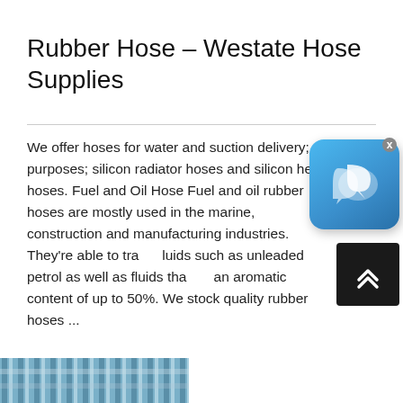Rubber Hose – Westate Hose Supplies
We offer hoses for water and suction delivery; g purposes; silicon radiator hoses and silicon heat hoses. Fuel and Oil Hose Fuel and oil rubber hoses are mostly used in the marine, construction and manufacturing industries. They're able to tra luids such as unleaded petrol as well as fluids that an aromatic content of up to 50%. We stock quality rubber hoses ...
[Figure (screenshot): Chat widget app icon overlay — blue rounded-square icon with speech bubble icons]
[Figure (other): Dark scroll-to-top button with double chevron up arrows]
[Figure (photo): Bottom strip showing a corrugated rubber hose in blue and silver tones]